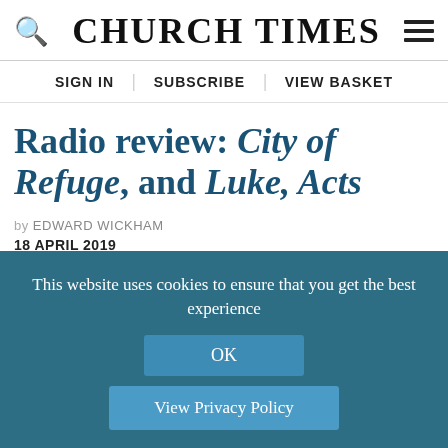CHURCH TIMES
SIGN IN | SUBSCRIBE | VIEW BASKET
Radio review: City of Refuge, and Luke, Acts
by EDWARD WICKHAM
18 APRIL 2019
[Figure (infographic): Row of five social sharing buttons: Facebook (dark blue), Twitter (light blue), print (grey), email (grey), plus/more (red)]
This website uses cookies to ensure that you get the best experience
OK
View Privacy Policy